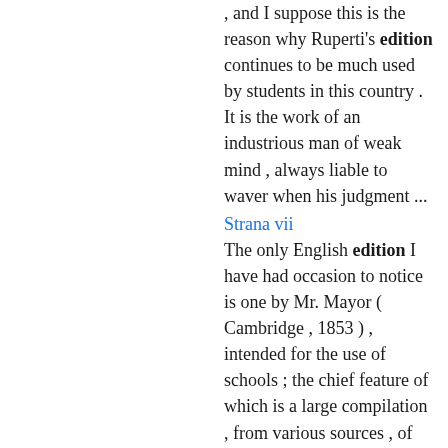, and I suppose this is the reason why Ruperti's edition continues to be much used by students in this country . It is the work of an industrious man of weak mind , always liable to waver when his judgment ...
Strana vii
The only English edition I have had occasion to notice is one by Mr. Mayor ( Cambridge , 1853 ) , intended for the use of schools ; the chief feature of which is a large compilation , from various sources , of references to other ...
Strana viii
Having edited Horace for this series , I have referred freely to my own